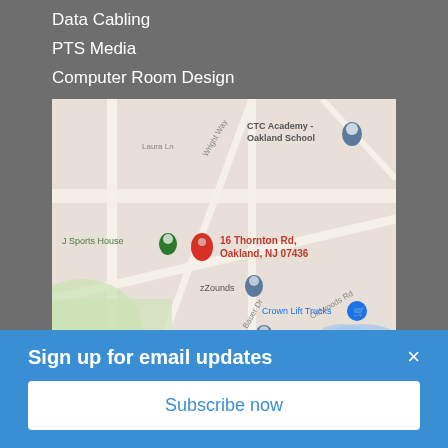Data Cabling
PTS Media
Computer Room Design
[Figure (map): Google Maps screenshot showing location pin at 16 Thornton Rd, Oakland, NJ 07436. Nearby landmarks include CTC Academy - Oakland School, J Sports House (green pin), zZounds, Crown Lift Trucks, and Kradle 2 Kindergarten. Streets include Laura Ln, Wright Way, Bauer Dr, and Oldwoods Rd.]
Sign up for email updates
Subscribe now